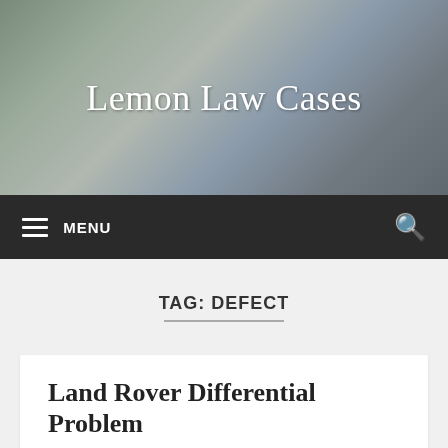[Figure (photo): Header banner photo showing two people inspecting a car outdoors with trees in background, overlaid with the site title 'Lemon Law Cases' in white serif text]
MENU  [search icon]
TAG: DEFECT
Land Rover Differential Problem